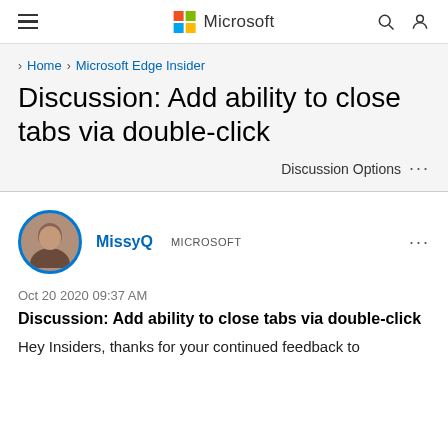Microsoft
> Home > Microsoft Edge Insider
Discussion: Add ability to close tabs via double-click
Discussion Options ...
MissyQ   MICROSOFT   ...
Oct 20 2020 09:37 AM
Discussion: Add ability to close tabs via double-click
Hey Insiders, thanks for your continued feedback to